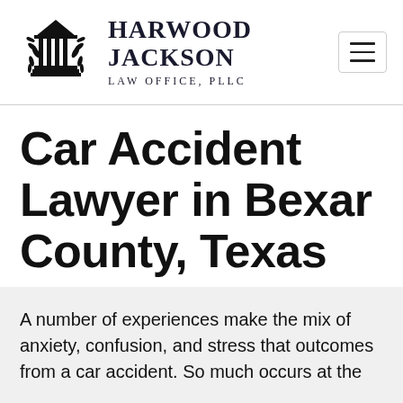[Figure (logo): Harwood Jackson Law Office PLLC logo with a courthouse/pillars icon flanked by laurel wreaths, and a hamburger menu icon on the right]
Car Accident Lawyer in Bexar County, Texas
A number of experiences make the mix of anxiety, confusion, and stress that outcomes from a car accident. So much occurs at the